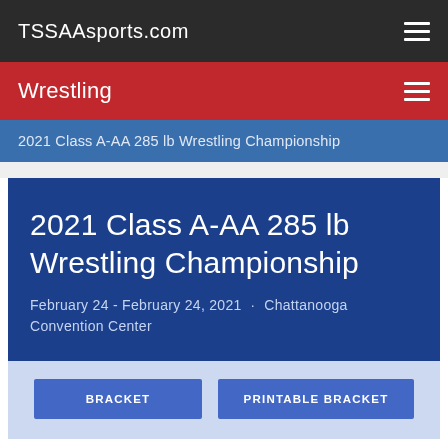TSSAAsports.com
Wrestling
2021 Class A-AA 285 lb Wrestling Championship
2021 Class A-AA 285 lb Wrestling Championship
February 24 - February 24, 2021 · Chattanooga Convention Center
BRACKET
PRINTABLE BRACKET